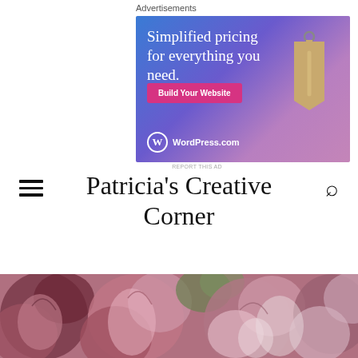Advertisements
[Figure (illustration): WordPress.com advertisement banner with blue-purple gradient background, white text 'Simplified pricing for everything you need.', a pink 'Build Your Website' button, a hanging price tag illustration, and WordPress.com logo at bottom left.]
REPORT THIS AD
Patricia's Creative Corner
[Figure (photo): Close-up photograph of pink and mauve roses/peonies with petals visible, serving as a decorative header image for the blog.]